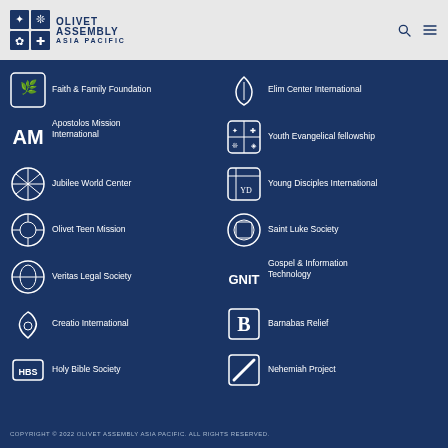[Figure (logo): Olivet Assembly Asia Pacific logo with grid of symbols and text]
Faith & Family Foundation
Elim Center International
Apostolos Mission International
Youth Evangelical fellowship
Jubilee World Center
Young Disciples International
Olivet Teen Mission
Saint Luke Society
Veritas Legal Society
Gospel & Information Technology
Creatio International
Barnabas Relief
Holy Bible Society
Nehemiah Project
COPYRIGHT © 2022 OLIVET ASSEMBLY ASIA PACIFIC. ALL RIGHTS RESERVED.